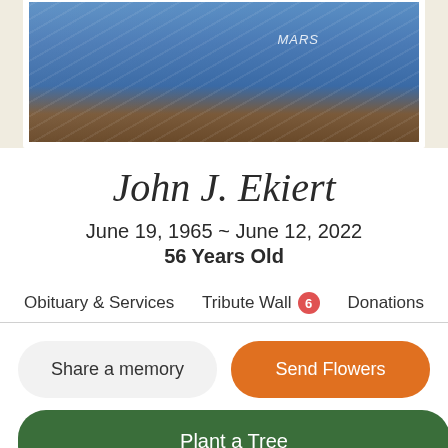[Figure (photo): Partial photo of John J. Ekiert wearing a blue shirt, cropped to show upper body portion, displayed in a white-bordered frame on a beige background]
John J. Ekiert
June 19, 1965 ~ June 12, 2022
56 Years Old
Obituary & Services
Tribute Wall 6
Donations
Share a memory
Send Flowers
Plant a Tree